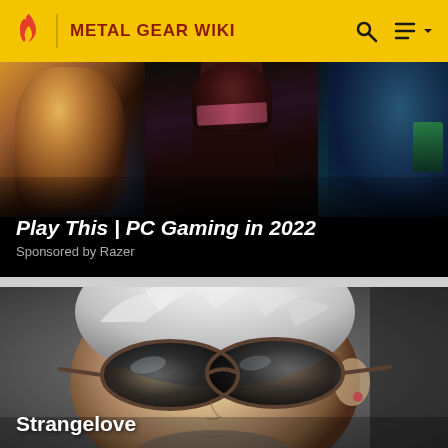METAL GEAR WIKI
[Figure (screenshot): Sponsored banner: Play This | PC Gaming in 2022, Sponsored by Razer. Shows three game character images.]
Play This | PC Gaming in 2022
Sponsored by Razer
[Figure (photo): Close-up of the character Strangelove from Metal Gear, a woman with short white hair wearing dark wraparound sunglasses.]
Strangelove